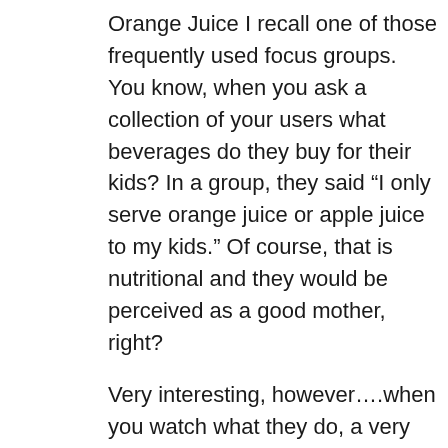Orange Juice I recall one of those frequently used focus groups. You know, when you ask a collection of your users what beverages do they buy for their kids? In a group, they said “I only serve orange juice or apple juice to my kids.” Of course, that is nutritional and they would be perceived as a good mother, right?
Very interesting, however….when you watch what they do, a very different picture emerges. Ask them to open up their pantry to you and you find 8 packages of Coke to 2 packages of juice!!